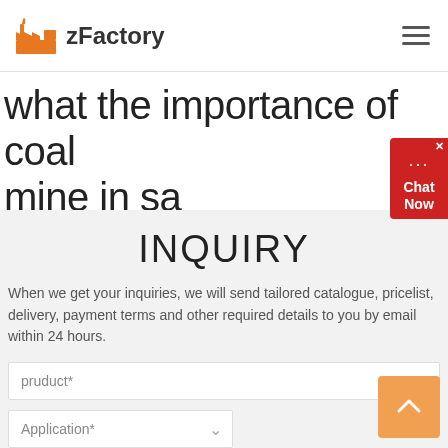zFactory
what the importance of coal mine in sa
INQUIRY
When we get your inquiries, we will send tailored catalogue, pricelist, delivery, payment terms and other required details to you by email within 24 hours.
pruduct*
Application*
Capacity*